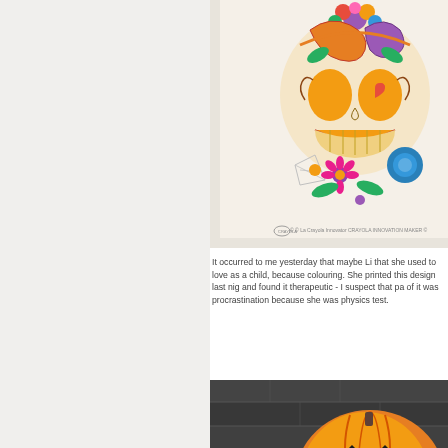[Figure (photo): Colorful sugar skull (Day of the Dead / Dia de los Muertos) coloring page, colored with vibrant markers/crayons showing flowers, swirls, and a large smiling skull with orange teeth. Crayola branding visible at bottom.]
It occurred to me yesterday that maybe Li that she used to love as a child, because colouring. She printed this design last nig and found it therapeutic - I suspect that pa of it was procrastination because she was physics test.
[Figure (photo): Partially visible orange pumpkin (jack-o-lantern) against a dark stone or wood background, Halloween themed.]